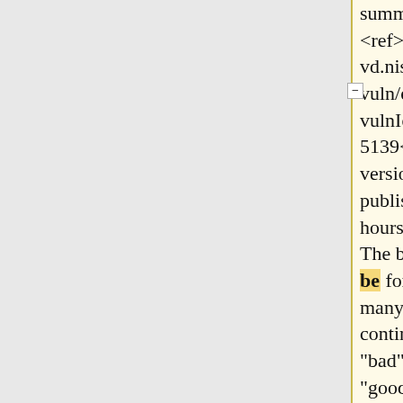summed. <ref>http://web.nvd.nist.gov/view/vuln/detail?vulnId=CVE-2010-5139</ref> A new version of the client was published within five hours of the discovery. The block chain had to be forked. Although many unpatched nodes continued to build on the "bad" block chain, the "good" block chain overtook it at a block height of 74691. The bad